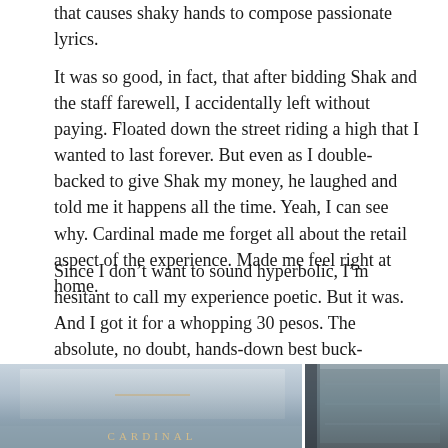that causes shaky hands to compose passionate lyrics.
It was so good, in fact, that after bidding Shak and the staff farewell, I accidentally left without paying. Floated down the street riding a high that I wanted to last forever. But even as I double-backed to give Shak my money, he laughed and told me it happens all the time. Yeah, I can see why. Cardinal made me forget all about the retail aspect of the experience. Made me feel right at home.
Since I don’t want to sound hyperbolic, I’m hesitant to call my experience poetic. But it was. And I got it for a whopping 30 pesos. The absolute, no doubt, hands-down best buck-seventy-five I’ve spent in a long, long, long freaking time.
[Figure (photo): Two photos side by side: left shows a storefront or sign with the text CARDINAL in gold letters on a light background; right shows a dark/grey textured surface or book spine.]